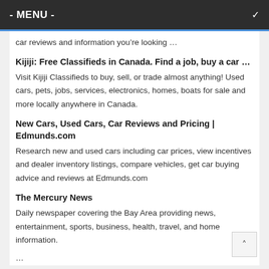- MENU -
car reviews and information you’re looking …
Kijiji: Free Classifieds in Canada. Find a job, buy a car …
Visit Kijiji Classifieds to buy, sell, or trade almost anything! Used cars, pets, jobs, services, electronics, homes, boats for sale and more locally anywhere in Canada.
New Cars, Used Cars, Car Reviews and Pricing | Edmunds.com
Research new and used cars including car prices, view incentives and dealer inventory listings, compare vehicles, get car buying advice and reviews at Edmunds.com
The Mercury News
Daily newspaper covering the Bay Area providing news, entertainment, sports, business, health, travel, and home information.
... ... ...